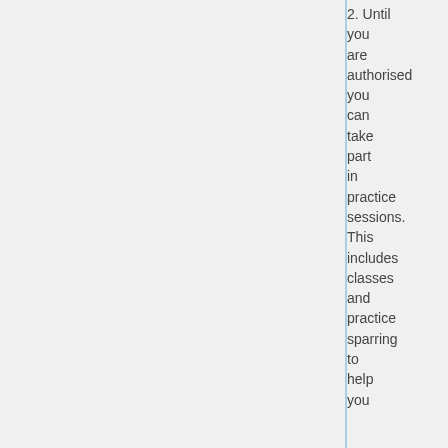2. Until you are authorised you can take part in practice sessions. This includes classes and practice sparring to help you